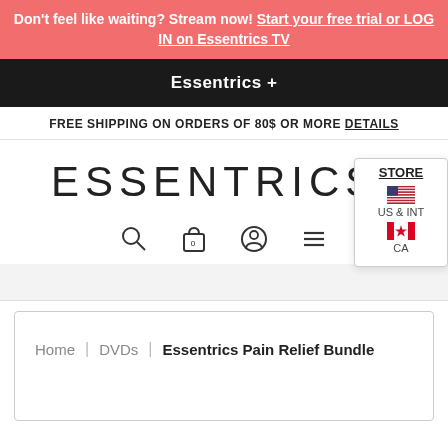Don't feel like waiting? Stream now! Start your free trial or LOG IN on Essentrics TV
Essentrics +
FREE SHIPPING ON ORDERS OF 80$ OR MORE DETAILS
[Figure (logo): ESSENTRICS® logo in large thin letters]
[Figure (screenshot): Navigation icons: search, bag, account, hamburger menu. Store dropdown showing US & INT and CA flags.]
Home | DVDs | Essentrics Pain Relief Bundle